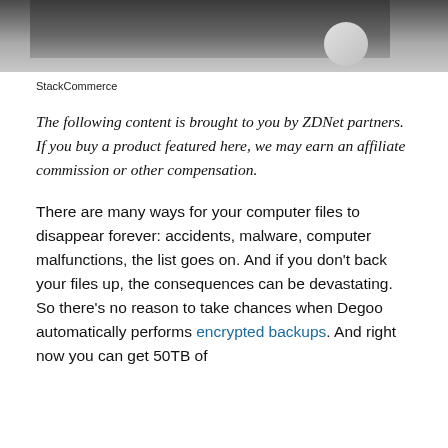[Figure (photo): Partial photo of a laptop and a computer mouse on a white desk surface, showing the top edge of the laptop screen.]
StackCommerce
The following content is brought to you by ZDNet partners. If you buy a product featured here, we may earn an affiliate commission or other compensation.
There are many ways for your computer files to disappear forever: accidents, malware, computer malfunctions, the list goes on. And if you don't back your files up, the consequences can be devastating. So there's no reason to take chances when Degoo automatically performs encrypted backups. And right now you can get 50TB of